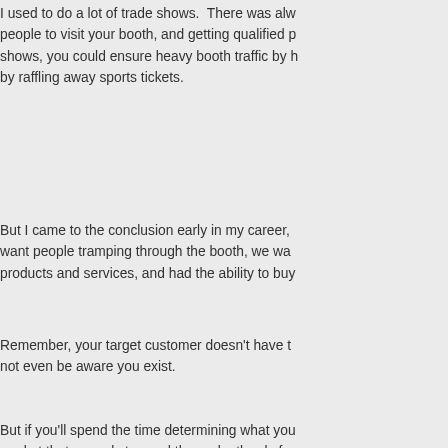I used to do a lot of trade shows.  There was always a challenge to get people to visit your booth, and getting qualified people to visit.  At trade shows, you could ensure heavy booth traffic by handing out trinkets or by raffling away sports tickets.
But I came to the conclusion early in my career, that we didn't really want people tramping through the booth, we wanted people who needed our products and services, and had the ability to buy.
Remember, your target customer doesn't have to know they need you, may not even be aware you exist.
But if you'll spend the time determining what your ideal customer is, the market that appeals to , and then relentlessly focus on that market...
One final thought..   these are moving targets.  Business changes, and what was a viable business a few years ago, ma
Eddie